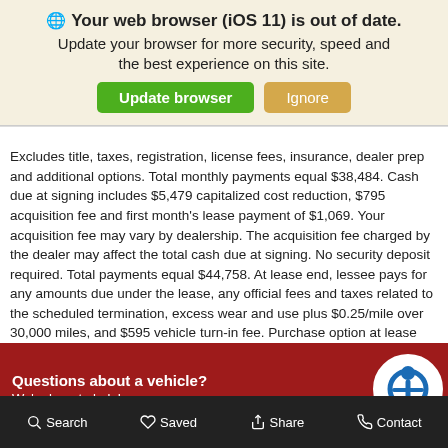[Figure (screenshot): Browser update notification banner with globe icon, bold title 'Your web browser (iOS 11) is out of date.', subtitle text, green 'Update browser' button and tan 'Ignore' button]
Excludes title, taxes, registration, license fees, insurance, dealer prep and additional options. Total monthly payments equal $38,484. Cash due at signing includes $5,479 capitalized cost reduction, $795 acquisition fee and first month's lease payment of $1,069. Your acquisition fee may vary by dealership. The acquisition fee charged by the dealer may affect the total cash due at signing. No security deposit required. Total payments equal $44,758. At lease end, lessee pays for any amounts due under the lease, any official fees and taxes related to the scheduled termination, excess wear and use plus $0.25/mile over 30,000 miles, and $595 vehicle turn-in fee. Purchase option at lease end for $39,676 plus taxes (and any other fees and charges due under the applicable lease agreement) in
Questions about a vehicle?
We're here to help!
Search   Saved   Share   Contact